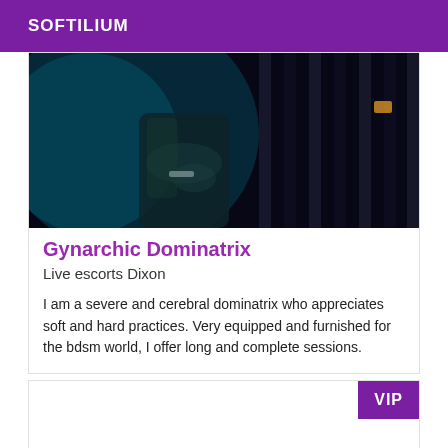SOFTILIUM
[Figure (photo): A woman in dark leather clothing standing near metal bars in a dark blue-lit environment.]
Gynarchic Dominatrix
Live escorts Dixon
I am a severe and cerebral dominatrix who appreciates soft and hard practices. Very equipped and furnished for the bdsm world, I offer long and complete sessions.
VIP